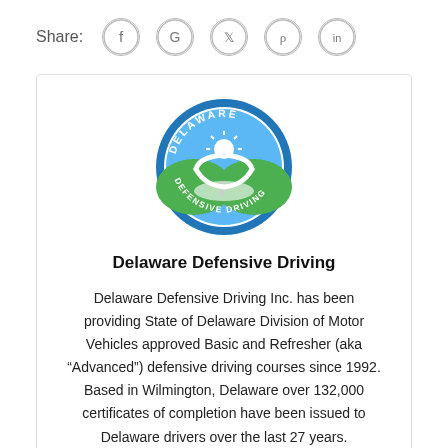Share:
[Figure (logo): Delaware Defensive Driving circular logo with blue border, steering wheel, green hills, sun, and text reading DELAWARE on top arc and DEFENSIVE DRIVING on bottom arc]
Delaware Defensive Driving
Delaware Defensive Driving Inc. has been providing State of Delaware Division of Motor Vehicles approved Basic and Refresher (aka “Advanced”) defensive driving courses since 1992. Based in Wilmington, Delaware over 132,000 certificates of completion have been issued to Delaware drivers over the last 27 years.